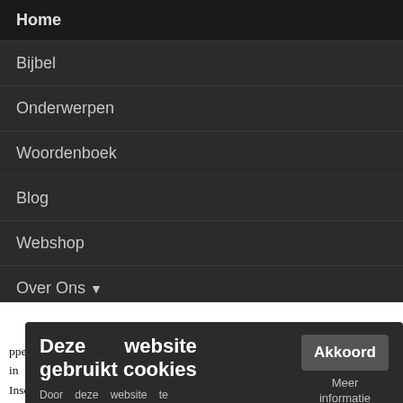Home
Bijbel
Onderwerpen
Woordenboek
Blog
Webshop
Over Ons ▾
Doneer
ppears under the which is found also ore Ὑό; accusative sta same place; in Inscrr. of Pergamon, Magnesia, and Delphi, and in non-literary
Deze website gebruikt cookies
Door deze website te gebruiken, ga je akkoord met ons gebruik van cookies.
Akkoord
Meer informatie